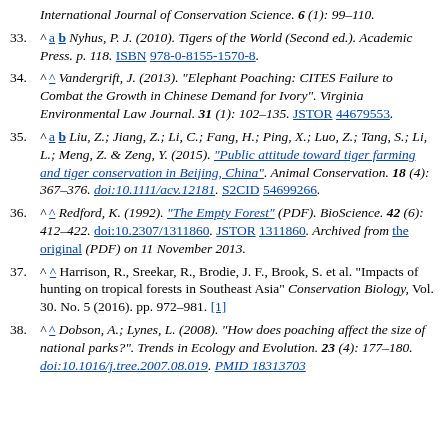International Journal of Conservation Science. 6 (1): 99–110.
33. ^ a b Nyhus, P. J. (2010). Tigers of the World (Second ed.). Academic Press. p. 118. ISBN 978-0-8155-1570-8.
34. ^ Vandergrift, J. (2013). "Elephant Poaching: CITES Failure to Combat the Growth in Chinese Demand for Ivory". Virginia Environmental Law Journal. 31 (1): 102–135. JSTOR 44679553.
35. ^ a b Liu, Z.; Jiang, Z.; Li, C.; Fang, H.; Ping, X.; Luo, Z.; Tang, S.; Li, L.; Meng, Z. & Zeng, Y. (2015). "Public attitude toward tiger farming and tiger conservation in Beijing, China". Animal Conservation. 18 (4): 367–376. doi:10.1111/acv.12181. S2CID 54699266.
36. ^ Redford, K. (1992). "The Empty Forest" (PDF). BioScience. 42 (6): 412–422. doi:10.2307/1311860. JSTOR 1311860. Archived from the original (PDF) on 11 November 2013.
37. ^ Harrison, R., Sreekar, R., Brodie, J. F., Brook, S. et al. "Impacts of hunting on tropical forests in Southeast Asia" Conservation Biology, Vol. 30. No. 5 (2016). pp. 972–981. [1]
38. ^ Dobson, A.; Lynes, L. (2008). "How does poaching affect the size of national parks?". Trends in Ecology and Evolution. 23 (4): 177–180. doi:10.1016/j.tree.2007.08.019. PMID 18313703.